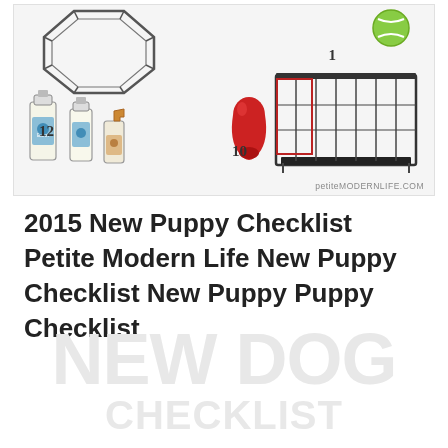[Figure (infographic): Product collage showing numbered pet/puppy supplies: exercise pen (playpen), dog cage/crate, cleaning product bottles labeled 12, KONG toy labeled 10, tennis ball, with watermark 'petiteMODERNLIFE.COM']
2015 New Puppy Checklist Petite Modern Life New Puppy Checklist New Puppy Puppy Checklist